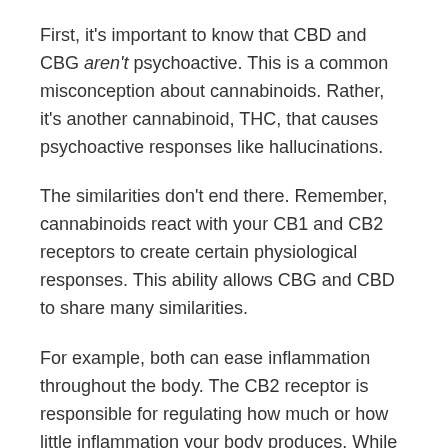First, it's important to know that CBD and CBG aren't psychoactive. This is a common misconception about cannabinoids. Rather, it's another cannabinoid, THC, that causes psychoactive responses like hallucinations.
The similarities don't end there. Remember, cannabinoids react with your CB1 and CB2 receptors to create certain physiological responses. This ability allows CBG and CBD to share many similarities.
For example, both can ease inflammation throughout the body. The CB2 receptor is responsible for regulating how much or how little inflammation your body produces. While you need a little to heal and ward off diseases, too much can cause diseases.
Chronic inflammation can cause:
Long-lasting pain